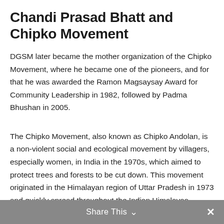Chandi Prasad Bhatt and Chipko Movement
DGSM later became the mother organization of the Chipko Movement, where he became one of the pioneers, and for that he was awarded the Ramon Magsaysay Award for Community Leadership in 1982, followed by Padma Bhushan in 2005.
The Chipko Movement, also known as Chipko Andolan, is a non-violent social and ecological movement by villagers, especially women, in India in the 1970s, which aimed to protect trees and forests to be cut down. This movement originated in the Himalayan region of Uttar Pradesh in 1973 and quickly spread throughout the Indian Himalayas.
Share This ∨  ✕